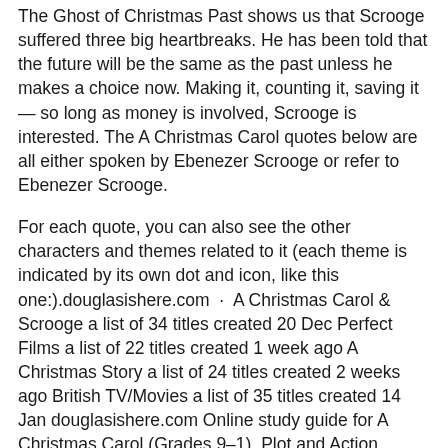The Ghost of Christmas Past shows us that Scrooge suffered three big heartbreaks. He has been told that the future will be the same as the past unless he makes a choice now. Making it, counting it, saving it — so long as money is involved, Scrooge is interested. The A Christmas Carol quotes below are all either spoken by Ebenezer Scrooge or refer to Ebenezer Scrooge.
For each quote, you can also see the other characters and themes related to it (each theme is indicated by its own dot and icon, like this one:).douglasishere.com · A Christmas Carol & Scrooge a list of 34 titles created 20 Dec Perfect Films a list of 22 titles created 1 week ago A Christmas Story a list of 24 titles created 2 weeks ago British TV/Movies a list of 35 titles created 14 Jan douglasishere.com Online study guide for A Christmas Carol (Grades 9–1), Plot and Action Loneliness and isolation Stave One, pages 1–3: Marley is dead and